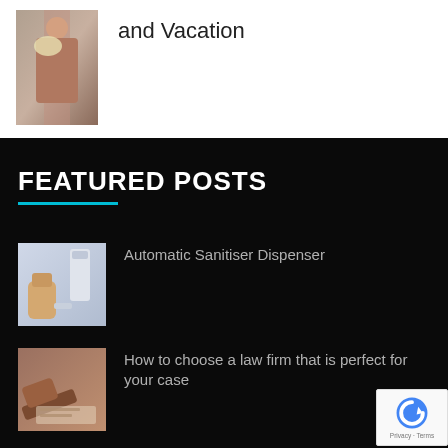[Figure (photo): Person in a dress holding flowers on a balcony]
and Vacation
FEATURED POSTS
[Figure (photo): Hand near an automatic sanitiser dispenser]
Automatic Sanitiser Dispenser
[Figure (photo): Gavel and person writing, law firm setting]
How to choose a law firm that is perfect for your case